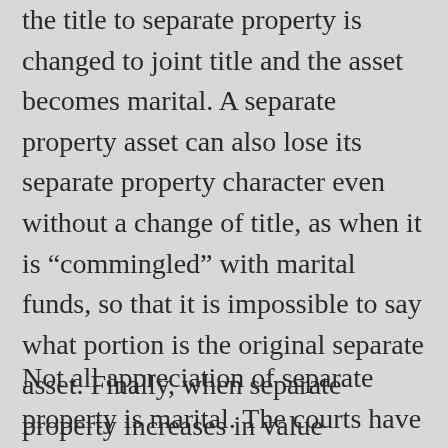the title to separate property is changed to joint title and the asset becomes marital. A separate property asset can also lose its separate property character even without a change of title, as when it is “commingled” with marital funds, so that it is impossible to say what portion is the original separate asset. Finally, when separate property increases in value (appreciates), some or all of that appreciation can be classified as marital property.
Not all appreciation of separate property is marital. The courts have